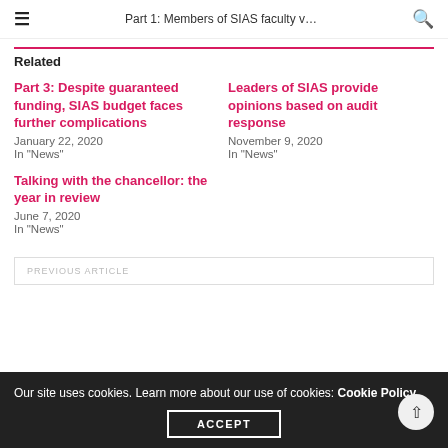Part 1: Members of SIAS faculty v…
Related
Part 3: Despite guaranteed funding, SIAS budget faces further complications
January 22, 2020
In "News"
Leaders of SIAS provide opinions based on audit response
November 9, 2020
In "News"
Talking with the chancellor: the year in review
June 7, 2020
In "News"
PREVIOUS ARTICLE
Our site uses cookies. Learn more about our use of cookies: Cookie Policy
ACCEPT